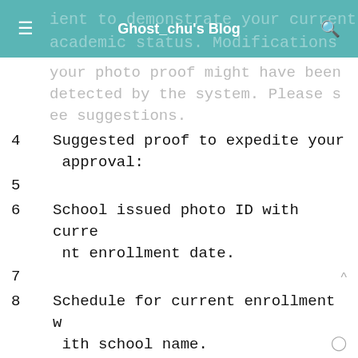Ghost_chu's Blog
ient to demonstrate your current academic status. Modifications to your photo proof might have been detected by the system. Please see suggestions.
4  Suggested proof to expedite your approval:
5
6  School issued photo ID with current enrollment date.
7
8  Schedule for current enrollment with school name.
9
10  Signed registration certificate with current enrollment date.
11
12  Transcripts with current enrollment date.